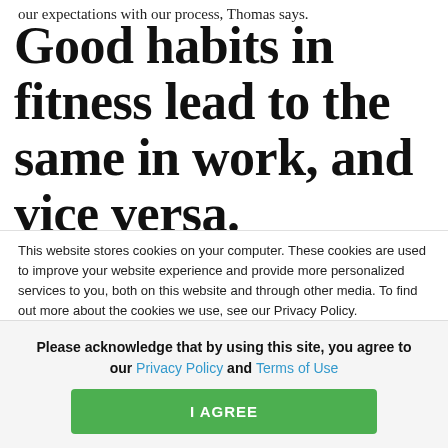our expectations with our process, Thomas says.
Good habits in fitness lead to the same in work, and vice versa.
U.S. Army Mind + Time research study d...
This website stores cookies on your computer. These cookies are used to improve your website experience and provide more personalized services to you, both on this website and through other media. To find out more about the cookies we use, see our Privacy Policy.
We won't track your information when you visit our site. But in order to comply with your ...
Please acknowledge that by using this site, you agree to our Privacy Policy and Terms of Use
I AGREE